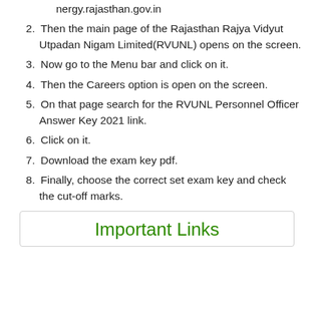nergy.rajasthan.gov.in
Then the main page of the Rajasthan Rajya Vidyut Utpadan Nigam Limited(RVUNL) opens on the screen.
Now go to the Menu bar and click on it.
Then the Careers option is open on the screen.
On that page search for the RVUNL Personnel Officer Answer Key 2021 link.
Click on it.
Download the exam key pdf.
Finally, choose the correct set exam key and check the cut-off marks.
Important Links